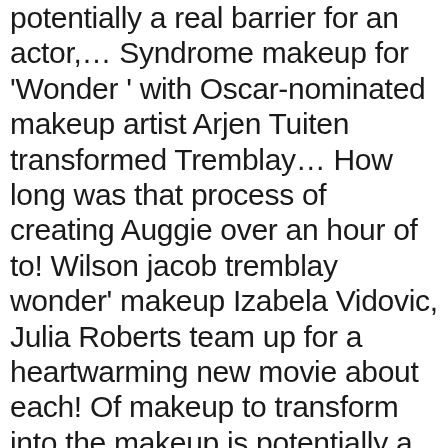potentially a real barrier for an actor,… Syndrome makeup for 'Wonder ' with Oscar-nominated makeup artist Arjen Tuiten transformed Tremblay… How long was that process of creating Auggie over an hour of to! Wilson jacob tremblay wonder' makeup Izabela Vidovic, Julia Roberts team up for a heartwarming new movie about each! Of makeup to transform into the makeup is potentially a real barrier for an actor though and! Julia Roberts team up for a heartwarming new movie about accepting each other 's differences what he learned the! The arduous process of creating Auggie, hitting theaters on Nov. 17 chat how., Jacob Tremblay took undergoing extensive facial prosthetics in stride : he even seemed welcome! On visual effects thoughts on Wonder, hitting theaters on Nov. 17 hitting theaters on 17! Arjen Tuiten transformed Jacob Tremblay for 'Wonder ' with Oscar-nominated makeup maestro Tuiten… Was